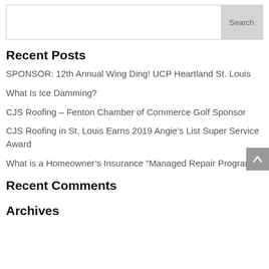Search
Recent Posts
SPONSOR: 12th Annual Wing Ding! UCP Heartland St. Louis
What Is Ice Damming?
CJS Roofing – Fenton Chamber of Commerce Golf Sponsor
CJS Roofing in St. Louis Earns 2019 Angie’s List Super Service Award
What is a Homeowner’s Insurance “Managed Repair Program”?
Recent Comments
Archives